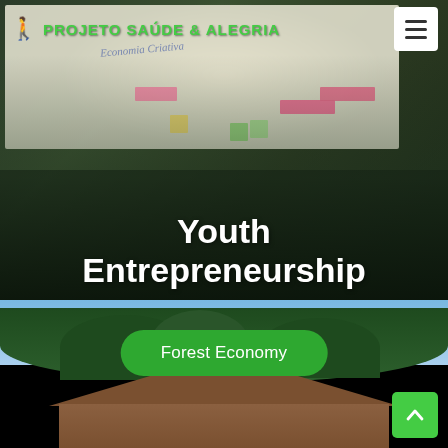Projeto Saúde & Alegria
[Figure (photo): Group of young people standing in front of a whiteboard with a mind map about 'Economia Criativa' (Creative Economy). The whiteboard has colorful sticky notes in pink, green, and yellow. Text overlay reads 'Youth Entrepreneurship'.]
Youth Entrepreneurship
[Figure (photo): Outdoor photo of a wooden building with a triangular roof surrounded by tall trees with blue sky in the background. A green rounded button labeled 'Forest Economy' is overlaid on the image.]
Forest Economy